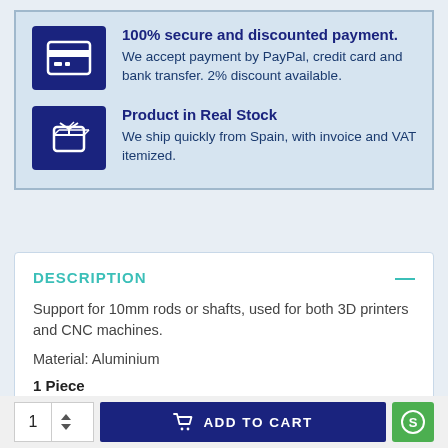100% secure and discounted payment. We accept payment by PayPal, credit card and bank transfer. 2% discount available.
Product in Real Stock. We ship quickly from Spain, with invoice and VAT itemized.
DESCRIPTION
Support for 10mm rods or shafts, used for both 3D printers and CNC machines.
Material: Aluminium
1 Piece